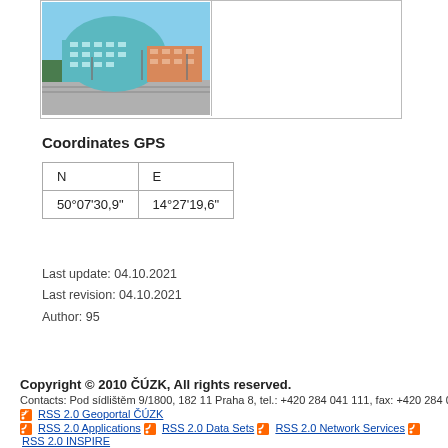[Figure (photo): Photo of a modern office building with teal curved facade and orange/pink rectangular wing, taken from a street with tram tracks. Right half of the panel is blank white.]
Coordinates GPS
| N | E |
| --- | --- |
| 50°07'30,9" | 14°27'19,6" |
Last update: 04.10.2021
Last revision: 04.10.2021
Author: 95
Copyright © 2010 ČÚZK, All rights reserved.
Contacts: Pod sídlištěm 9/1800, 182 11 Praha 8, tel.: +420 284 041 111, fax: +420 284 041 416. User Supp…
RSS 2.0 Geoportal ČÚZK
RSS 2.0 Applications  RSS 2.0 Data Sets  RSS 2.0 Network Services  RSS 2.0 INSPIRE